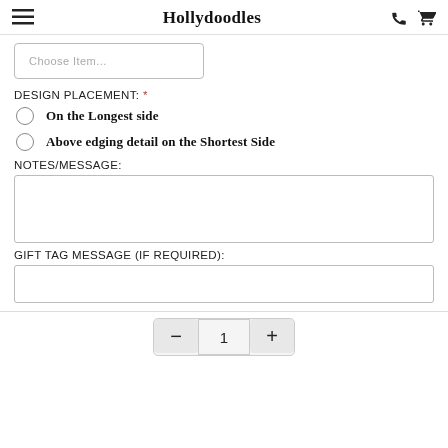Hollydoodles
[Figure (screenshot): Partial button with text 'Choose Item...' visible at top]
DESIGN PLACEMENT: *
On the Longest side
Above edging detail on the Shortest Side
NOTES/MESSAGE:
[Figure (screenshot): Empty text area input box]
GIFT TAG MESSAGE (IF REQUIRED):
[Figure (screenshot): Empty single-line input box]
[Figure (screenshot): Quantity selector with minus button, value 1, and plus button]